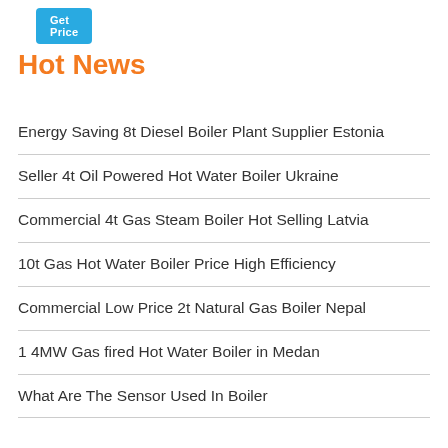[Figure (other): Blue 'Get Price' button]
Hot News
Energy Saving 8t Diesel Boiler Plant Supplier Estonia
Seller 4t Oil Powered Hot Water Boiler Ukraine
Commercial 4t Gas Steam Boiler Hot Selling Latvia
10t Gas Hot Water Boiler Price High Efficiency
Commercial Low Price 2t Natural Gas Boiler Nepal
1 4MW Gas fired Hot Water Boiler in Medan
What Are The Sensor Used In Boiler